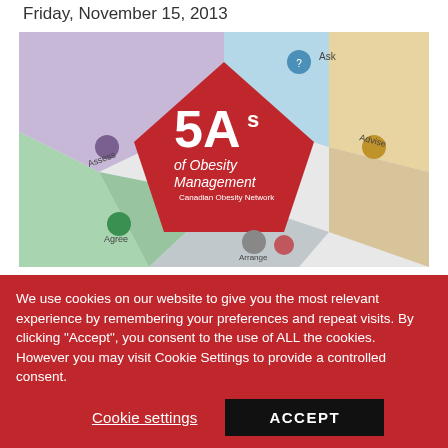Friday, November 15, 2013
[Figure (infographic): 5As of Obesity Management infographic from the Canadian Obesity Network, showing a pentagon divided into 5 colored sections: Ask (blue), Assess (purple), Advise (orange/tan), Agree (green), Assist (gray/silver). A large red pentagon in the center reads '5As of Obesity Management, Canadian Obesity Network'.]
Regular readers will be well aware of the 5As of Obesity Management framework and tools recently
We use cookies on our website to give you the most relevant experience by remembering your preferences and repeat visits. By clicking "Accept", you consent to the use of ALL the cookies. However you may visit Cookie Settings to provide a controlled consent.
Cookie settings
ACCEPT